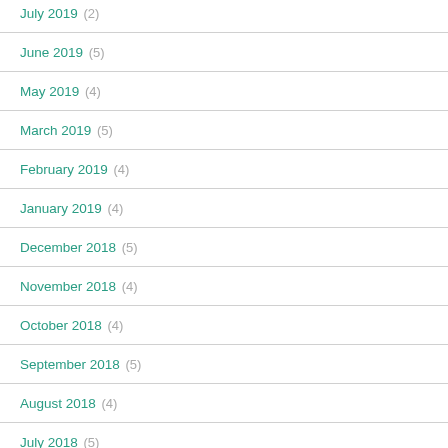July 2019 (2)
June 2019 (5)
May 2019 (4)
March 2019 (5)
February 2019 (4)
January 2019 (4)
December 2018 (5)
November 2018 (4)
October 2018 (4)
September 2018 (5)
August 2018 (4)
July 2018 (5)